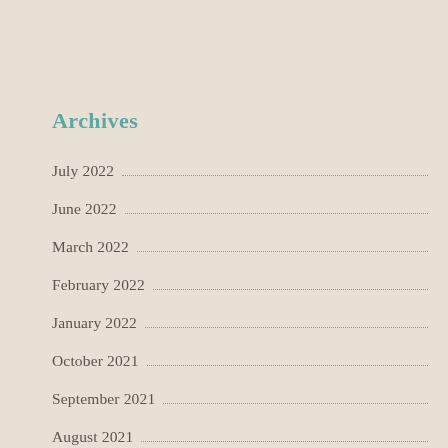Archives
July 2022
June 2022
March 2022
February 2022
January 2022
October 2021
September 2021
August 2021
June 2021
May 2021